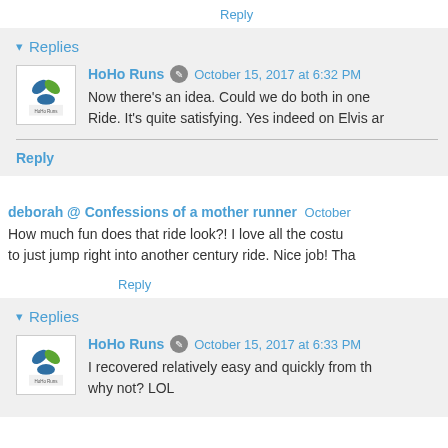Reply
▾ Replies
HoHo Runs  October 15, 2017 at 6:32 PM
Now there's an idea. Could we do both in one... Ride. It's quite satisfying. Yes indeed on Elvis ar
Reply
deborah @ Confessions of a mother runner  October
How much fun does that ride look?! I love all the costu... to just jump right into another century ride. Nice job! Tha
Reply
▾ Replies
HoHo Runs  October 15, 2017 at 6:33 PM
I recovered relatively easy and quickly from th... why not? LOL